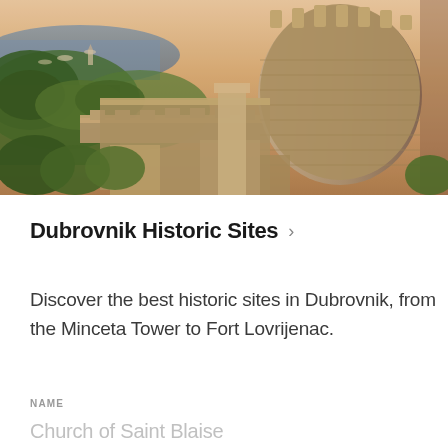[Figure (photo): Aerial photo of Dubrovnik historic city walls and fortress towers overlooking the Adriatic Sea at sunset, showing massive stone walls, round towers, greenery, and the harbor with boats in the background]
Dubrovnik Historic Sites >
Discover the best historic sites in Dubrovnik, from the Minceta Tower to Fort Lovrijenac.
NAME
Church of Saint Blaise